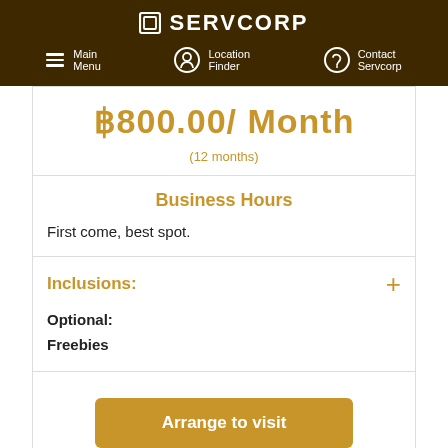SERVCORP — Main Menu | Location Finder | Contact Servcorp
฿800.00/ Month
(12 months)
Business Hours
First come, best spot.
Inclusions:
Optional:
Freebies
Arrange to visit